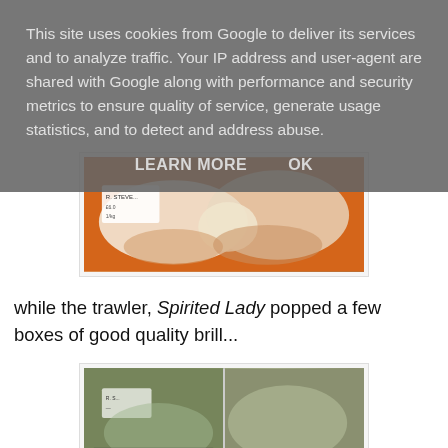This site uses cookies from Google to deliver its services and to analyze traffic. Your IP address and user-agent are shared with Google along with performance and security metrics to ensure quality of service, generate usage statistics, and to detect and address abuse.
LEARN MORE    OK
[Figure (photo): Raw fish (brill) displayed on an orange tray with a price label visible]
while the trawler, Spirited Lady popped a few boxes of good quality brill...
[Figure (photo): Two close-up images of brill fish side by side showing the textured skin]